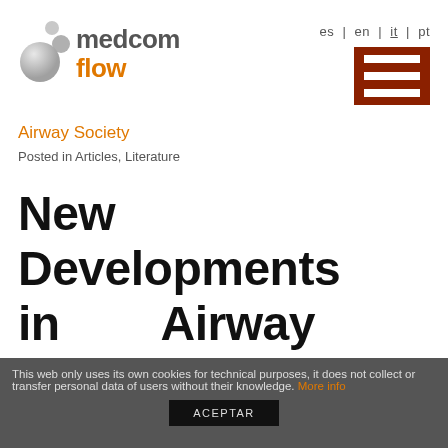[Figure (logo): Medcom Flow logo with grey bubbles and orange 'flow' text]
es | en | it | pt
[Figure (other): Hamburger menu icon, dark red background with three white stripes]
Airway Society
Posted in Articles, Literature
New Developments in Airway Management
This web only uses its own cookies for technical purposes, it does not collect or transfer personal data of users without their knowledge. More info
ACEPTAR